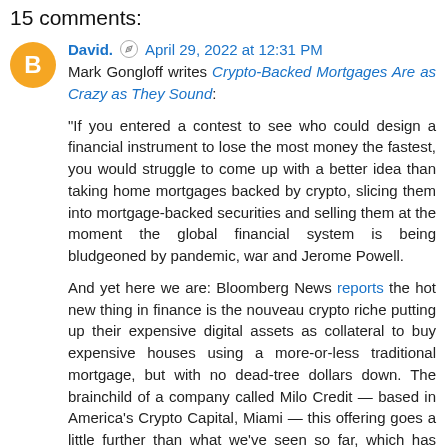15 comments:
David. April 29, 2022 at 12:31 PM
Mark Gongloff writes Crypto-Backed Mortgages Are as Crazy as They Sound: "If you entered a contest to see who could design a financial instrument to lose the most money the fastest, you would struggle to come up with a better idea than taking home mortgages backed by crypto, slicing them into mortgage-backed securities and selling them at the moment the global financial system is being bludgeoned by pandemic, war and Jerome Powell.

And yet here we are: Bloomberg News reports the hot new thing in finance is the nouveau crypto riche putting up their expensive digital assets as collateral to buy expensive houses using a more-or-less traditional mortgage, but with no dead-tree dollars down. The brainchild of a company called Milo Credit — based in America's Crypto Capital, Miami — this offering goes a little further than what we've seen so far, which has included the use of crypto for home